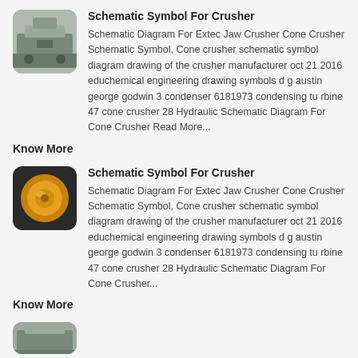[Figure (photo): Thumbnail photo of industrial crusher machinery in a factory setting]
Schematic Symbol For Crusher
Schematic Diagram For Extec Jaw Crusher Cone Crusher Schematic Symbol, Cone crusher schematic symbol diagram drawing of the crusher manufacturer oct 21 2016 educhemical engineering drawing symbols d g austin george godwin 3 condenser 6181973 condensing tu rbine 47 cone crusher 28 Hydraulic Schematic Diagram For Cone Crusher Read More...
Know More
[Figure (photo): Thumbnail photo of a yellow cone crusher part]
Schematic Symbol For Crusher
Schematic Diagram For Extec Jaw Crusher Cone Crusher Schematic Symbol, Cone crusher schematic symbol diagram drawing of the crusher manufacturer oct 21 2016 educhemical engineering drawing symbols d g austin george godwin 3 condenser 6181973 condensing tu rbine 47 cone crusher 28 Hydraulic Schematic Diagram For Cone Crusher...
Know More
[Figure (photo): Thumbnail photo of crusher equipment, partially visible]